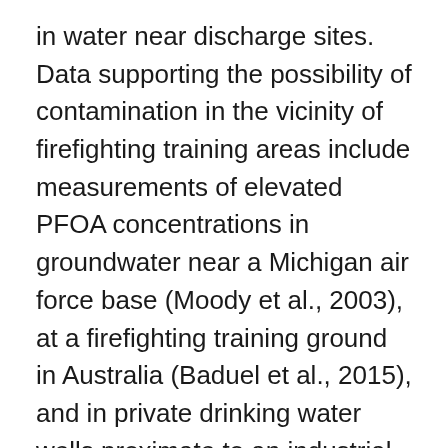in water near discharge sites. Data supporting the possibility of contamination in the vicinity of firefighting training areas include measurements of elevated PFOA concentrations in groundwater near a Michigan air force base (Moody et al., 2003), at a firefighting training ground in Australia (Baduel et al., 2015), and in private drinking water wells proximate to an industrial site in Cologne, Germany (Weiß et al., 2012).
Elevated PFOA concentrations measured in surface water downstream from fluorochemical manufacturing plants have